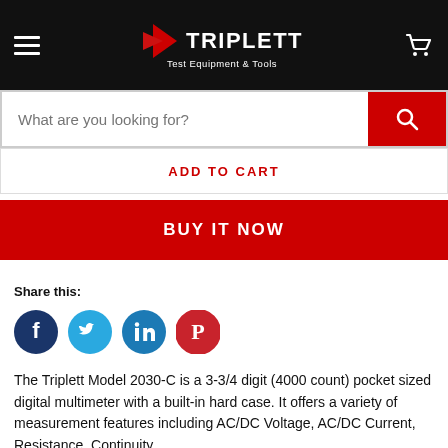TRIPLETT Test Equipment & Tools
[Figure (screenshot): Search bar with placeholder text 'What are you looking for?' and red search button]
ADD TO CART
BUY IT NOW
Share this:
[Figure (infographic): Social media share icons: Facebook (dark blue), Twitter (light blue), LinkedIn (blue), Pinterest (red)]
The Triplett Model 2030-C is a 3-3/4 digit (4000 count) pocket sized digital multimeter with a built-in hard case. It offers a variety of measurement features including AC/DC Voltage, AC/DC Current, Resistance, Continuity,